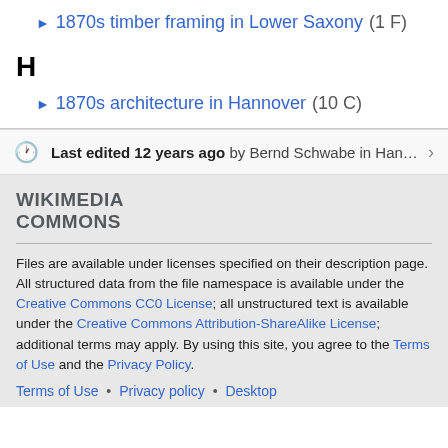► 1870s timber framing in Lower Saxony (1 F)
H
► 1870s architecture in Hannover (10 C)
Last edited 12 years ago by Bernd Schwabe in Han…
[Figure (logo): Wikimedia Commons logo text]
Files are available under licenses specified on their description page. All structured data from the file namespace is available under the Creative Commons CC0 License; all unstructured text is available under the Creative Commons Attribution-ShareAlike License; additional terms may apply. By using this site, you agree to the Terms of Use and the Privacy Policy.
Terms of Use • Privacy policy • Desktop